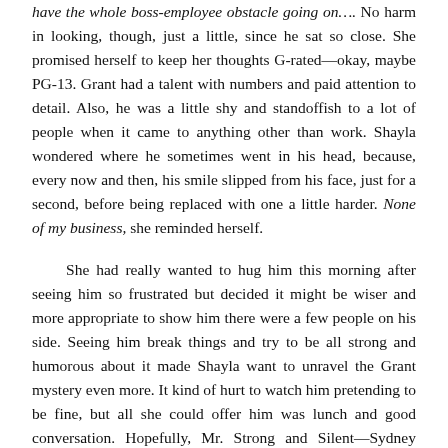have the whole boss-employee obstacle going on…. No harm in looking, though, just a little, since he sat so close. She promised herself to keep her thoughts G-rated—okay, maybe PG-13. Grant had a talent with numbers and paid attention to detail. Also, he was a little shy and standoffish to a lot of people when it came to anything other than work. Shayla wondered where he sometimes went in his head, because, every now and then, his smile slipped from his face, just for a second, before being replaced with one a little harder. None of my business, she reminded herself.
She had really wanted to hug him this morning after seeing him so frustrated but decided it might be wiser and more appropriate to show him there were a few people on his side. Seeing him break things and try to be all strong and humorous about it made Shayla want to unravel the Grant mystery even more. It kind of hurt to watch him pretending to be fine, but all she could offer him was lunch and good conversation. Hopefully, Mr. Strong and Silent—Sydney called him that sometimes, although never to his face—knew Shayla and Sydney cared. And Shayla did care. Because he's a friend. Just a friend.